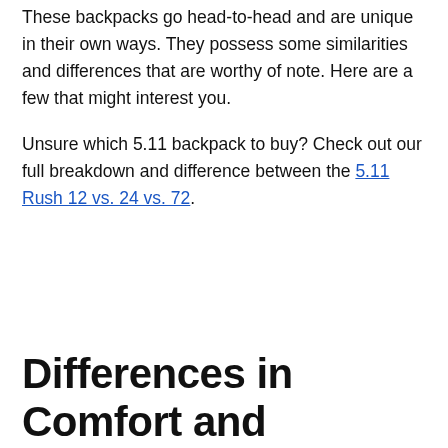These backpacks go head-to-head and are unique in their own ways. They possess some similarities and differences that are worthy of note. Here are a few that might interest you.
Unsure which 5.11 backpack to buy? Check out our full breakdown and difference between the 5.11 Rush 12 vs. 24 vs. 72.
Differences in Comfort and